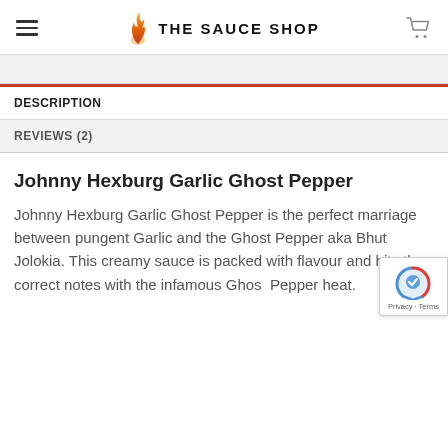THE SAUCE SHOP
DESCRIPTION
REVIEWS (2)
Johnny Hexburg Garlic Ghost Pepper
Johnny Hexburg Garlic Ghost Pepper is the perfect marriage between pungent Garlic and the Ghost Pepper aka Bhut Jolokia. This creamy sauce is packed with flavour and hits the correct notes with the infamous Ghost Pepper heat.